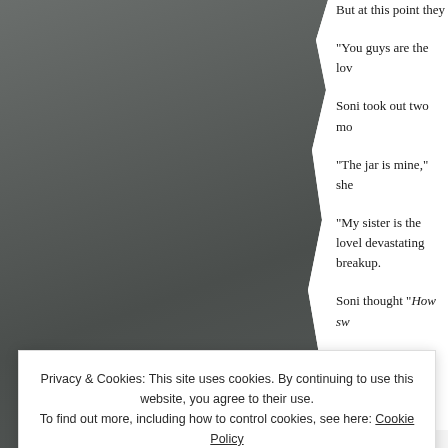[Figure (photo): Dark grey photo of a person, cropped, left side of page with torn/ragged right edge]
But at this point they
“You guys are the lov
Soni took out two mo
“The jar is mine,” she
“My sister is the lovel devastating breakup.
Soni thought “How sw
Privacy & Cookies: This site uses cookies. By continuing to use this website, you agree to their use.
To find out more, including how to control cookies, see here: Cookie Policy
Close and accept
AIRPORT-TIPS.AE